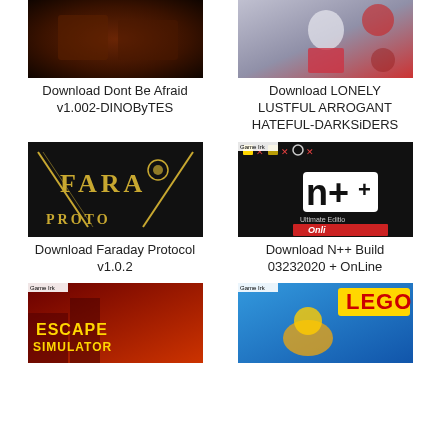[Figure (screenshot): Thumbnail image for Dont Be Afraid game - dark cave/horror scene]
Download Dont Be Afraid v1.002-DINOByTES
[Figure (screenshot): Thumbnail image for LONELY LUSTFUL ARROGANT HATEFUL game - anime character]
Download LONELY LUSTFUL ARROGANT HATEFUL-DARKSiDERS
[Figure (screenshot): Thumbnail image for Faraday Protocol game - art deco logo on black background]
Download Faraday Protocol v1.0.2
[Figure (screenshot): Thumbnail image for N++ game - colorful puzzle game with N++ Ultimate Edition Online text]
Download N++ Build 03232020 + OnLine
[Figure (screenshot): Thumbnail image for Escape Simulator game - red background with game logo]
[Figure (screenshot): Thumbnail image for LEGO game - LEGO branded superhero game screenshot]